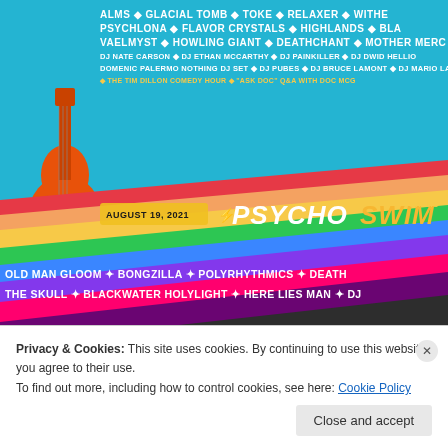[Figure (illustration): Psycho Swim festival poster screenshot showing colorful music festival lineup with guitar mascot, rainbow diagonal stripes, and text listing bands including Old Man Gloom, Bongzilla, Polyrhythmics, Death, The Skull, Blackwater Holylight, Here Lies Man, and others. Date shown: August 19, 2021. Title reads PSYCHO SWIM.]
Advertisements
[Figure (screenshot): DAY ONE journaling app advertisement. Blue background with app logo icons and text: 'The only journaling app you'll ever need.']
Here's the updated daily lineups and set times:
August 19 (Psycho Swim):
Privacy & Cookies: This site uses cookies. By continuing to use this website, you agree to their use.
To find out more, including how to control cookies, see here: Cookie Policy
Close and accept